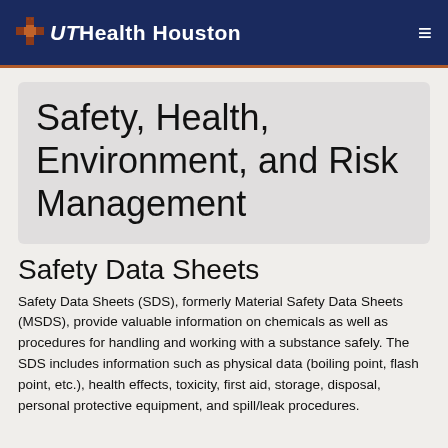UTHealth Houston
Safety, Health, Environment, and Risk Management
Safety Data Sheets
Safety Data Sheets (SDS), formerly Material Safety Data Sheets (MSDS), provide valuable information on chemicals as well as procedures for handling and working with a substance safely. The SDS includes information such as physical data (boiling point, flash point, etc.), health effects, toxicity, first aid, storage, disposal, personal protective equipment, and spill/leak procedures.